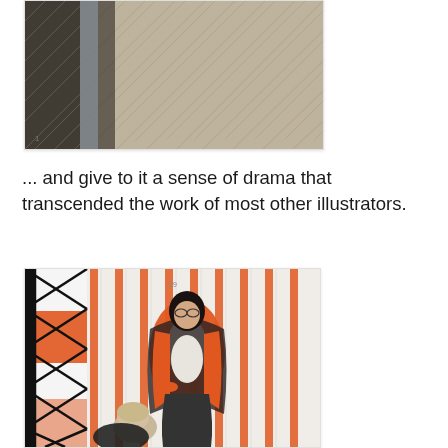[Figure (photo): Close-up detail of illustrated fabric patterns with herringbone and geometric textures in muted tones of gray, brown, and blue.]
... and give to it a sense of drama that transcended the work of most other illustrators.
[Figure (illustration): Vintage magazine illustration showing two women in 1950s fashion. One woman in an orange coat and glasses stands over another seated figure, with a decorative orange and white striped background and a diamond-patterned lattice on the left side.]